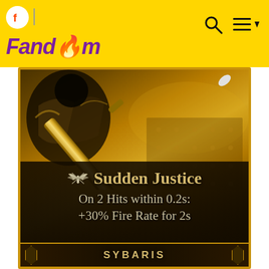Fandom
[Figure (screenshot): Game card showing character with golden staff/weapon. Card has dark bottom section with golden text showing 'Sudden Justice' ability icon (wing symbol), description 'On 2 Hits within 0.2s: +30% Fire Rate for 2s', and bottom banner reading 'SYBARIS'.]